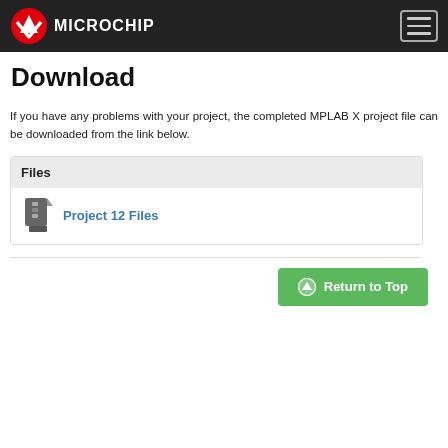Microchip
Download
If you have any problems with your project, the completed MPLAB X project file can be downloaded from the link below.
Files
Project 12 Files
Return to Top